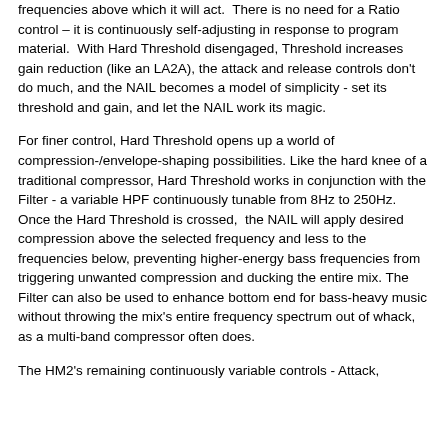frequencies above which it will act.  There is no need for a Ratio control – it is continuously self-adjusting in response to program material.  With Hard Threshold disengaged, Threshold increases gain reduction (like an LA2A), the attack and release controls don't do much, and the NAIL becomes a model of simplicity - set its threshold and gain, and let the NAIL work its magic.
For finer control, Hard Threshold opens up a world of compression-/envelope-shaping possibilities. Like the hard knee of a traditional compressor, Hard Threshold works in conjunction with the Filter - a variable HPF continuously tunable from 8Hz to 250Hz. Once the Hard Threshold is crossed,  the NAIL will apply desired compression above the selected frequency and less to the frequencies below, preventing higher-energy bass frequencies from triggering unwanted compression and ducking the entire mix. The Filter can also be used to enhance bottom end for bass-heavy music without throwing the mix's entire frequency spectrum out of whack, as a multi-band compressor often does.
The HM2's remaining continuously variable controls - Attack,